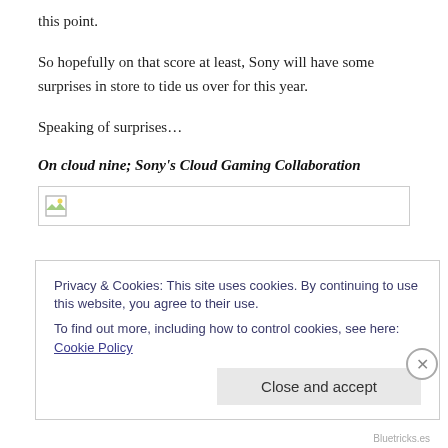this point.
So hopefully on that score at least, Sony will have some surprises in store to tide us over for this year.
Speaking of surprises…
On cloud nine; Sony's Cloud Gaming Collaboration
[Figure (other): Broken image placeholder with small landscape icon]
Privacy & Cookies: This site uses cookies. By continuing to use this website, you agree to their use.
To find out more, including how to control cookies, see here: Cookie Policy
Close and accept